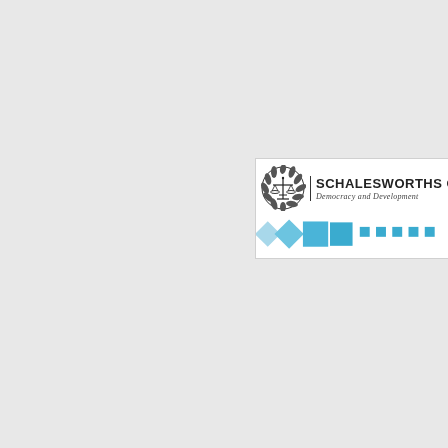[Figure (logo): Schalesworths Centre logo with balance of justice emblem, bold text 'SCHALESWORTHS CENTRE', italic tagline 'Democracy and Development', and a row of blue squares/diamonds in decreasing opacity from left to right]